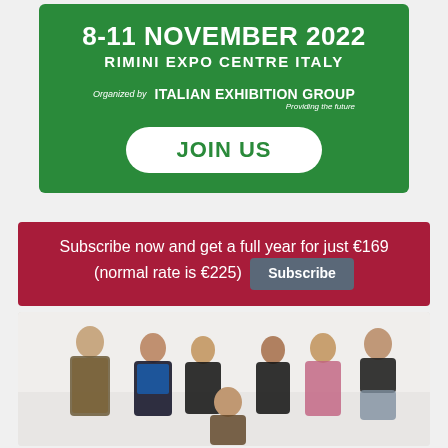[Figure (infographic): Green banner for an event: 8-11 November 2022, Rimini Expo Centre Italy, organized by Italian Exhibition Group - Providing the future. Contains a 'JOIN US' button.]
Subscribe now and get a full year for just €169 (normal rate is €225) Subscribe
[Figure (photo): Group photo of seven women in professional attire, posed against a white background.]